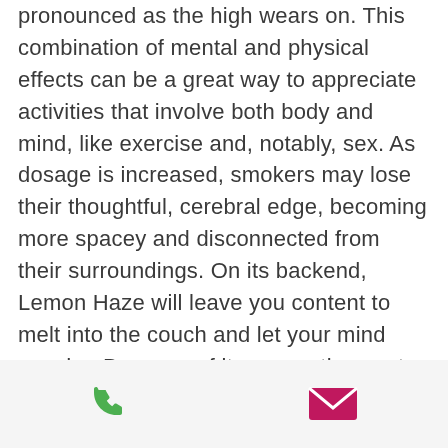pronounced as the high wears on. This combination of mental and physical effects can be a great way to appreciate activities that involve both body and mind, like exercise and, notably, sex. As dosage is increased, smokers may lose their thoughtful, cerebral edge, becoming more spacey and disconnected from their surroundings. On its backend, Lemon Haze will leave you content to melt into the couch and let your mind wander. Because of its energetic onset, this strain is best enjoyed for waking-and-baking or as an afternoon treat; if consumed at night, it's likely to leave users wired and hyper.
Lemon Haze may have several
[Figure (other): Footer bar with phone icon (green) and mail/envelope icon (pink/magenta)]